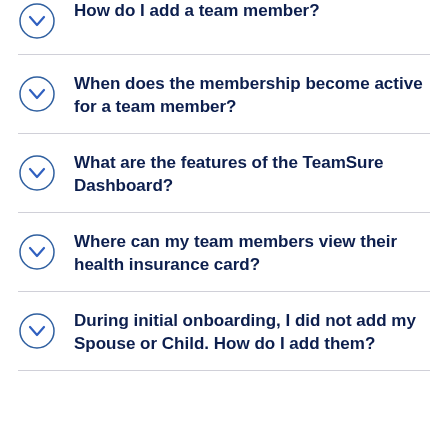How do I add a team member?
When does the membership become active for a team member?
What are the features of the TeamSure Dashboard?
Where can my team members view their health insurance card?
During initial onboarding, I did not add my Spouse or Child. How do I add them?